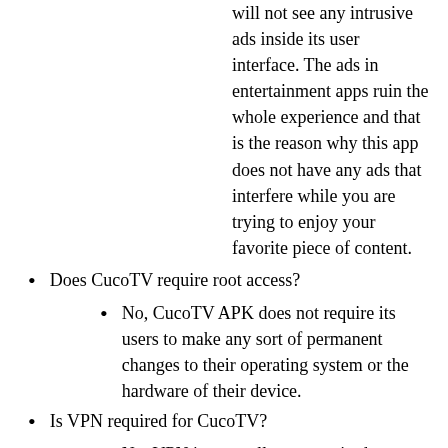will not see any intrusive ads inside its user interface. The ads in entertainment apps ruin the whole experience and that is the reason why this app does not have any ads that interfere while you are trying to enjoy your favorite piece of content.
Does CucoTV require root access?
No, CucoTV APK does not require its users to make any sort of permanent changes to their operating system or the hardware of their device.
Is VPN required for CucoTV?
No, VPN is generally not required to access movies and TV shows available on CucoTV. However, if a certain movie or a piece of content is not available in your